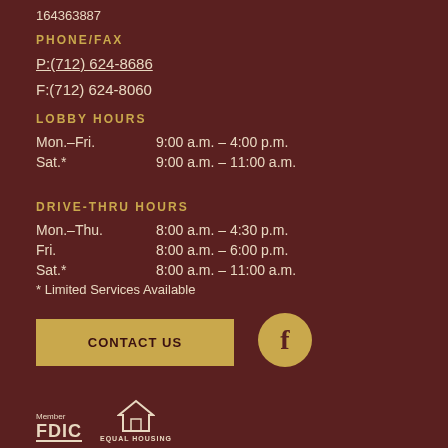164363887
PHONE/FAX
P:(712) 624-8686
F:(712) 624-8060
LOBBY HOURS
Mon.–Fri.    9:00 a.m. – 4:00 p.m.
Sat.*    9:00 a.m. – 11:00 a.m.
DRIVE-THRU HOURS
Mon.–Thu.    8:00 a.m. – 4:30 p.m.
Fri.    8:00 a.m. – 6:00 p.m.
Sat.*    8:00 a.m. – 11:00 a.m.
* Limited Services Available
CONTACT US
[Figure (logo): Facebook circle icon]
Member FDIC  EQUAL HOUSING